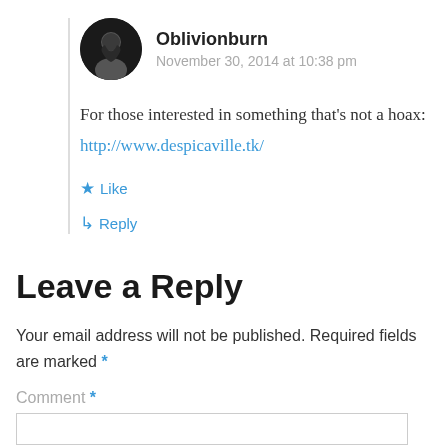[Figure (illustration): Circular avatar photo of user Oblivionburn with dark background silhouette]
Oblivionburn
November 30, 2014 at 10:38 pm
For those interested in something that’s not a hoax:
http://www.despicaville.tk/
★ Like
↵ Reply
Leave a Reply
Your email address will not be published. Required fields are marked *
Comment *